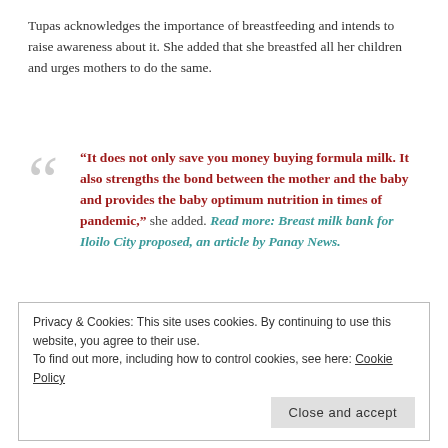Tupas acknowledges the importance of breastfeeding and intends to raise awareness about it. She added that she breastfed all her children and urges mothers to do the same.
“It does not only save you money buying formula milk. It also strengths the bond between the mother and the baby and provides the baby optimum nutrition in times of pandemic,” she added. Read more: Breast milk bank for Iloilo City proposed, an article by Panay News.
Privacy & Cookies: This site uses cookies. By continuing to use this website, you agree to their use.
To find out more, including how to control cookies, see here: Cookie Policy